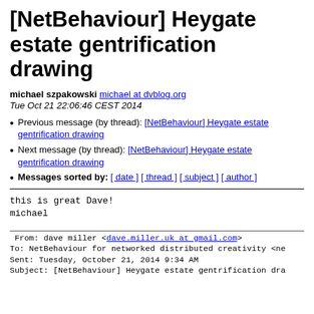[NetBehaviour] Heygate estate gentrification drawing
michael szpakowski michael at dvblog.org
Tue Oct 21 22:06:46 CEST 2014
Previous message (by thread): [NetBehaviour] Heygate estate gentrification drawing
Next message (by thread): [NetBehaviour] Heygate estate gentrification drawing
Messages sorted by: [ date ] [ thread ] [ subject ] [ author ]
this is great Dave!
michael
From: dave miller <dave.miller.uk at gmail.com>
To: NetBehaviour for networked distributed creativity <ne
Sent: Tuesday, October 21, 2014 9:34 AM
Subject: [NetBehaviour] Heygate estate gentrification dra